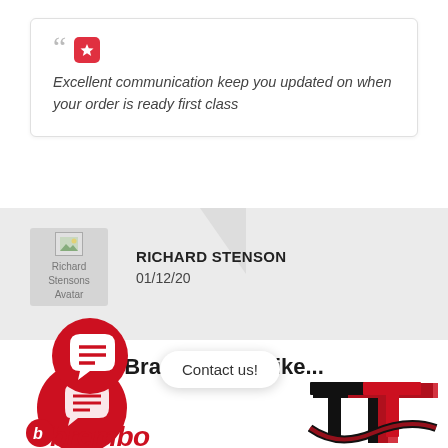Excellent communication keep you updated on when your order is ready first class
RICHARD STENSON
01/12/20
Brands you'll like...
[Figure (logo): Brembo brand logo (partial, red circular emblem with brembo text)]
[Figure (logo): TT brand logo (black and red stylized TT letters)]
Contact us!